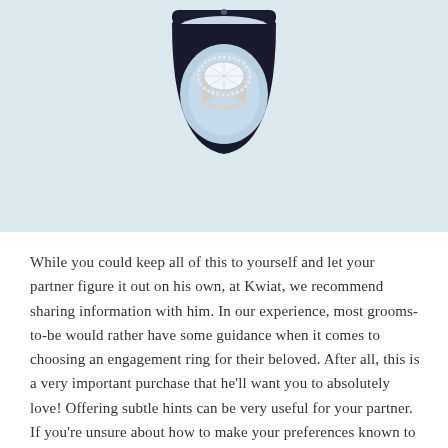[Figure (photo): A diamond engagement ring displayed in an open black velvet ring box on a light blue/white background. The ring features a large oval or cushion-cut diamond with a halo setting on a silver band.]
While you could keep all of this to yourself and let your partner figure it out on his own, at Kwiat, we recommend sharing information with him. In our experience, most grooms-to-be would rather have some guidance when it comes to choosing an engagement ring for their beloved. After all, this is a very important purchase that he'll want you to absolutely love! Offering subtle hints can be very useful for your partner. If you're unsure about how to make your preferences known to him, we suggest reading our guide on how to drop clues. Armed with the right details, a little encouragement, and assistance from Kwiat's trusted diamond